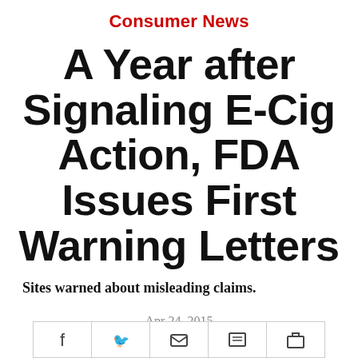Consumer News
A Year after Signaling E-Cig Action, FDA Issues First Warning Letters
Sites warned about misleading claims.
Apr 24, 2015
[Figure (other): Social media sharing bar with icons for Facebook, Twitter, email/mail, print, and briefcase/save functions]